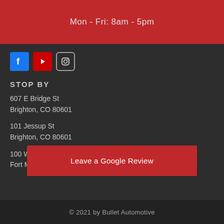Mon - Fri: 8am - 5pm
[Figure (logo): Social media icons: Facebook, YouTube, Instagram]
STOP BY
607 E Bridge St
Brighton, CO 80601
101 Jessup St
Brighton, CO 80601
100 Walnut St
Fort Morgan, CO 80701
Leave a Google Review
© 2021 by Bullet Automotive